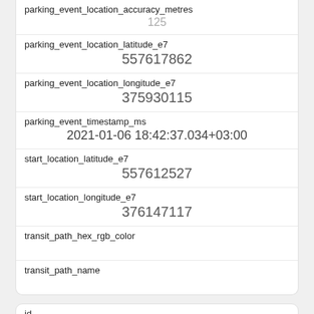| parking_event_location_accuracy_metres | 125 |
| parking_event_location_latitude_e7 | 557617862 |
| parking_event_location_longitude_e7 | 375930115 |
| parking_event_timestamp_ms | 2021-01-06 18:42:37.034+03:00 |
| start_location_latitude_e7 | 557612527 |
| start_location_longitude_e7 | 376147117 |
| transit_path_hex_rgb_color |  |
| transit_path_name |  |
| id | 4624 |
| created_at |  |